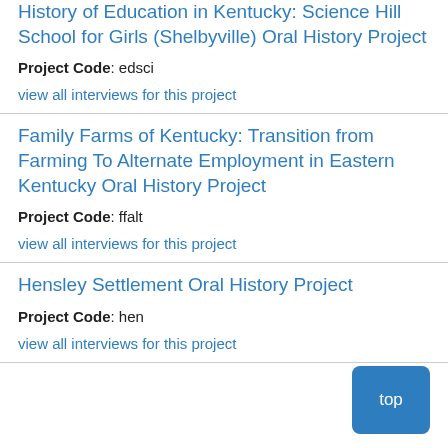History of Education in Kentucky: Science Hill School for Girls (Shelbyville) Oral History Project
Project Code: edsci
view all interviews for this project
Family Farms of Kentucky: Transition from Farming To Alternate Employment in Eastern Kentucky Oral History Project
Project Code: ffalt
view all interviews for this project
Hensley Settlement Oral History Project
Project Code: hen
view all interviews for this project